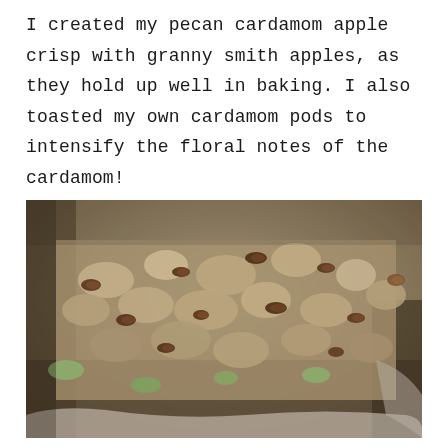I created my pecan cardamom apple crisp with granny smith apples, as they hold up well in baking. I also toasted my own cardamom pods to intensify the floral notes of the cardamom!
[Figure (photo): Close-up photo of pecan cardamom apple crisp in a white baking dish, showing a crumbly oat and nut topping with visible pecan pieces and glimpses of green apple beneath.]